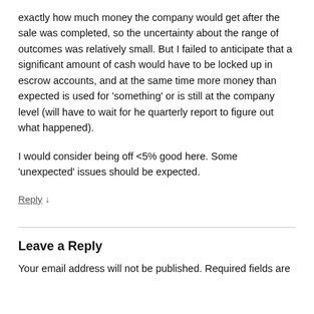exactly how much money the company would get after the sale was completed, so the uncertainty about the range of outcomes was relatively small. But I failed to anticipate that a significant amount of cash would have to be locked up in escrow accounts, and at the same time more money than expected is used for 'something' or is still at the company level (will have to wait for he quarterly report to figure out what happened).
I would consider being off <5% good here. Some 'unexpected' issues should be expected.
Reply ↓
Leave a Reply
Your email address will not be published. Required fields are